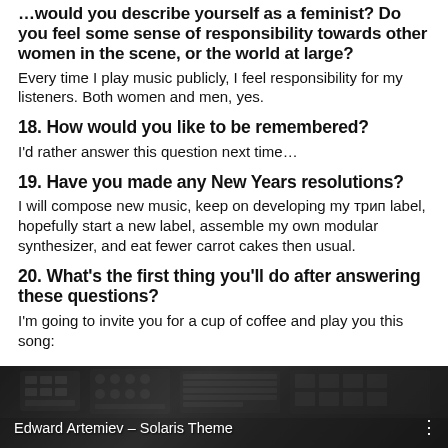…would you describe yourself as a feminist? Do you feel some sense of responsibility towards other women in the scene, or the world at large?
Every time I play music publicly, I feel responsibility for my listeners. Both women and men, yes.
18. How would you like to be remembered?
I'd rather answer this question next time…
19. Have you made any New Years resolutions?
I will compose new music, keep on developing my трип label, hopefully start a new label, assemble my own modular synthesizer, and eat fewer carrot cakes then usual.
20. What's the first thing you'll do after answering these questions?
I'm going to invite you for a cup of coffee and play you this song:
[Figure (screenshot): Video thumbnail showing music equipment in black and white, labeled 'Edward Artemiev – Solaris Theme' with a three-dot menu icon.]